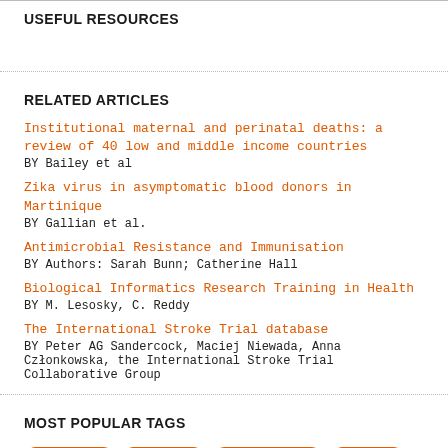USEFUL RESOURCES
RELATED ARTICLES
Institutional maternal and perinatal deaths: a review of 40 low and middle income countries
BY Bailey et al
Zika virus in asymptomatic blood donors in Martinique
BY Gallian et al.
Antimicrobial Resistance and Immunisation
BY Authors: Sarah Bunn; Catherine Hall
Biological Informatics Research Training in Health
BY M. Lesosky, C. Reddy
The International Stroke Trial database
BY Peter AG Sandercock, Maciej Niewada, Anna Członkowska, the International Stroke Trial Collaborative Group
MOST POPULAR TAGS
Archive (71)
archive (8)
engagement (2)
Brazil (1)